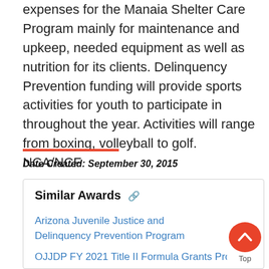expenses for the Manaia Shelter Care Program mainly for maintenance and upkeep, needed equipment as well as nutrition for its clients. Delinquency Prevention funding will provide sports activities for youth to participate in throughout the year. Activities will range from boxing, volleyball to golf. NCA/NCF
Date Created: September 30, 2015
Similar Awards
Arizona Juvenile Justice and Delinquency Prevention Program
OJJDP FY 2021 Title II Formula Grants Program